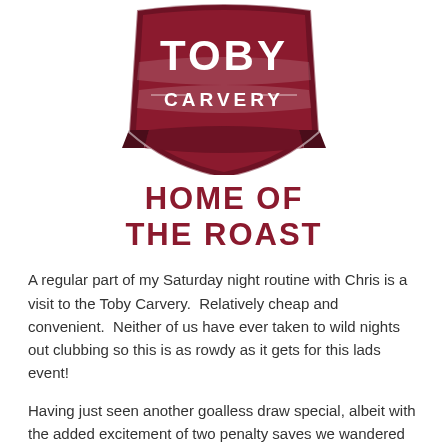[Figure (logo): Toby Carvery logo — dark red shield/banner shape with white text 'TOBY' large and 'CARVERY' smaller below, decorative ribbon banner style]
HOME OF THE ROAST
A regular part of my Saturday night routine with Chris is a visit to the Toby Carvery.  Relatively cheap and convenient.  Neither of us have ever taken to wild nights out clubbing so this is as rowdy as it gets for this lads event!
Having just seen another goalless draw special, albeit with the added excitement of two penalty saves we wandered on down to our usual haunt for food. Whilst the menu may not extend for that...